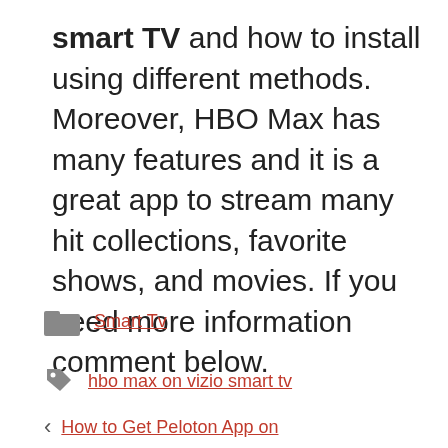smart TV and how to install using different methods. Moreover, HBO Max has many features and it is a great app to stream many hit collections, favorite shows, and movies. If you need more information comment below.
Smart Tv
hbo max on vizio smart tv
How to Get Peloton App on